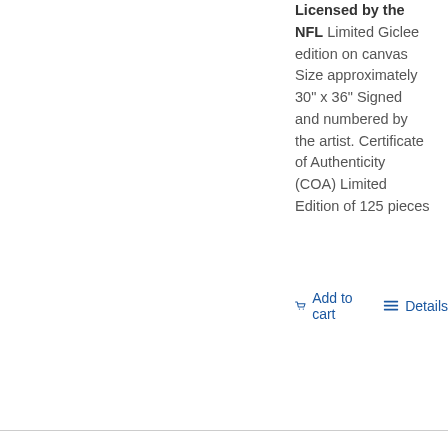Licensed by the NFL Limited Giclee edition on canvas Size approximately 30" x 36" Signed and numbered by the artist. Certificate of Authenticity (COA) Limited Edition of 125 pieces
Add to cart
Details
[Figure (photo): Football players celebrating on field during Super Bowl XLIX]
Super Bowl XLIX
$2,000.00
Titled: Super Bowl XLIX Artist: Edgar J. Brown Officially Licensed by the NFL Limited Giclee edition on canvas Size approximately 24" x 36" Signed and